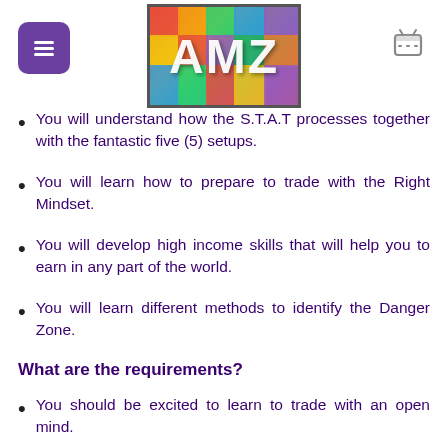AMZ logo with hamburger menu and cart icon
You will understand how the S.T.A.T processes together with the fantastic five (5) setups.
You will learn how to prepare to trade with the Right Mindset.
You will develop high income skills that will help you to earn in any part of the world.
You will learn different methods to identify the Danger Zone.
What are the requirements?
You should be excited to learn to trade with an open mind.
Have utmost respect towards community within your